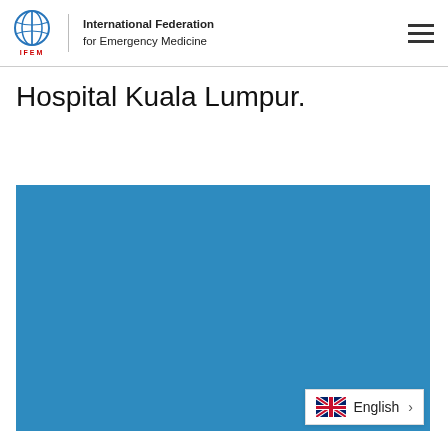International Federation for Emergency Medicine
Hospital Kuala Lumpur.
[Figure (photo): Large blue rectangular image area, appears to be a placeholder or partially loaded image with a solid blue (#2e8bbf) fill.]